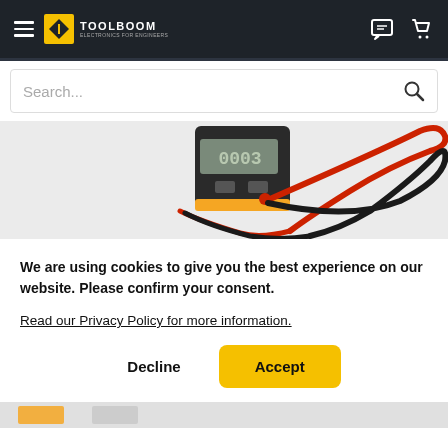TOOLBOOM - Electronics for Engineers
[Figure (photo): Partial product image of a small digital multimeter (showing 0.003 on display) with red and black test lead cables coiled on a light gray background]
We are using cookies to give you the best experience on our website. Please confirm your consent.
Read our Privacy Policy for more information.
Decline
Accept